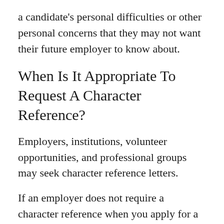a candidate's personal difficulties or other personal concerns that they may not want their future employer to know about.
When Is It Appropriate To Request A Character Reference?
Employers, institutions, volunteer opportunities, and professional groups may seek character reference letters.
If an employer does not require a character reference when you apply for a job, you have the option of providing one. If you're entering the job market for the first time and don't have any professional references to give, or if you've been out of the field for a few years, additional information can help.